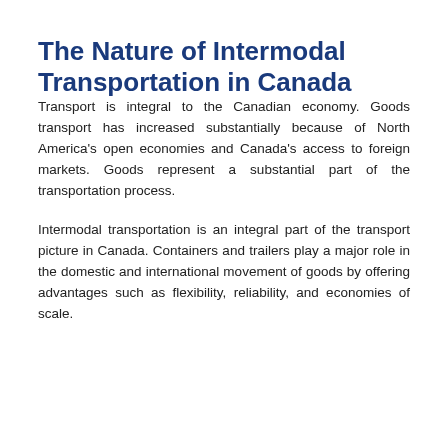The Nature of Intermodal Transportation in Canada
Transport is integral to the Canadian economy. Goods transport has increased substantially because of North America's open economies and Canada's access to foreign markets. Goods represent a substantial part of the transportation process.
Intermodal transportation is an integral part of the transport picture in Canada. Containers and trailers play a major role in the domestic and international movement of goods by offering advantages such as flexibility, reliability, and economies of scale.